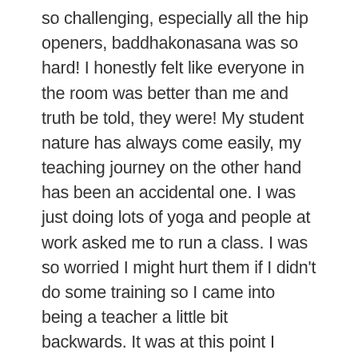so challenging, especially all the hip openers, baddhakonasana was so hard! I honestly felt like everyone in the room was better than me and truth be told, they were! My student nature has always come easily, my teaching journey on the other hand has been an accidental one. I was just doing lots of yoga and people at work asked me to run a class. I was so worried I might hurt them if I didn't do some training so I came into being a teacher a little bit backwards. It was at this point I started my five years of Iyengar teacher training with Anna Prior. Being a proper yoga nerd I kept studying, doing my two years of Hatha Teacher Training after. It is only really in the last 12 years that I have found my footing and the mountain I want to climb for the rest of my life. I have fallen head